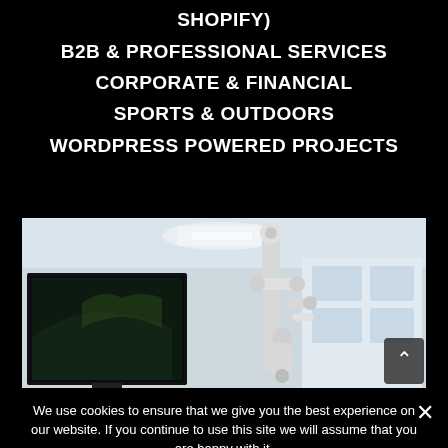SHOPIFY)
B2B & PROFESSIONAL SERVICES
CORPORATE & FINANCIAL
SPORTS & OUTDOORS
WORDPRESS POWERED PROJECTS
[Figure (photo): Interior of a modern medical or tech workspace with a large black monitor/TV on the left, white robotic arm mechanism in the center-right, and bright white cabinetry in the background. A scroll-to-top button is visible at the bottom-right corner.]
We use cookies to ensure that we give you the best experience on our website. If you continue to use this site we will assume that you are happy with it.
Ok